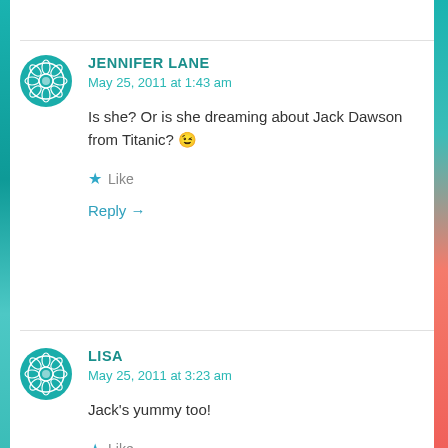JENNIFER LANE
May 25, 2011 at 1:43 am
Is she? Or is she dreaming about Jack Dawson from Titanic? 😉
Like
Reply →
LISA
May 25, 2011 at 3:23 am
Jack's yummy too!
Like